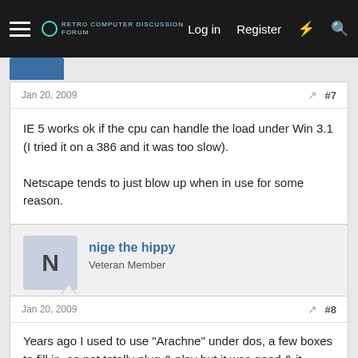Log in  Register
Jan 20, 2009  #7
IE 5 works ok if the cpu can handle the load under Win 3.1 (I tried it on a 386 and it was too slow).

Netscape tends to just blow up when in use for some reason.
nige the hippy
Veteran Member
Jan 20, 2009  #8
Years ago I used to use "Arachne" under dos, a few boxes to fill in, so not totally plug & play but it was good & it should work with 3.11, There was also the "Mosaic" browser, but I never got to use that. (perhaps I should have!).